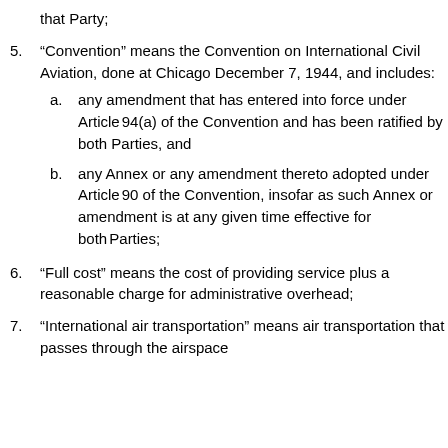that Party;
5. “Convention” means the Convention on International Civil Aviation, done at Chicago December 7, 1944, and includes:
  a. any amendment that has entered into force under Article 94(a) of the Convention and has been ratified by both Parties, and
  b. any Annex or any amendment thereto adopted under Article 90 of the Convention, insofar as such Annex or amendment is at any given time effective for both Parties;
6. “Full cost” means the cost of providing service plus a reasonable charge for administrative overhead;
7. “International air transportation” means air transportation that passes through the airspace